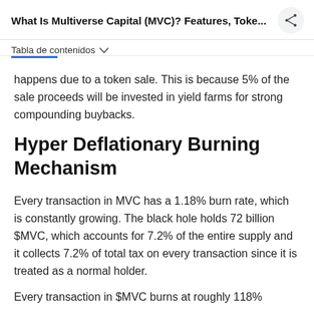What Is Multiverse Capital (MVC)? Features, Toke...
Tabla de contenidos
happens due to a token sale. This is because 5% of the sale proceeds will be invested in yield farms for strong compounding buybacks.
Hyper Deflationary Burning Mechanism
Every transaction in MVC has a 1.18% burn rate, which is constantly growing. The black hole holds 72 billion $MVC, which accounts for 7.2% of the entire supply and it collects 7.2% of total tax on every transaction since it is treated as a normal holder.
Every transaction in $MVC burns at roughly 118%